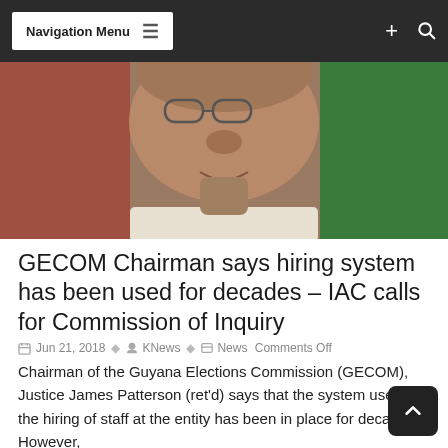Navigation Menu
[Figure (photo): Close-up photograph of an elderly man wearing glasses, in a light-colored jacket, with flags visible in the background.]
GECOM Chairman says hiring system has been used for decades – IAC calls for Commission of Inquiry
Jun 21, 2018  KNews  News Comments Off
Chairman of the Guyana Elections Commission (GECOM), Justice James Patterson (ret'd) says that the system used for the hiring of staff at the entity has been in place for decades. However,